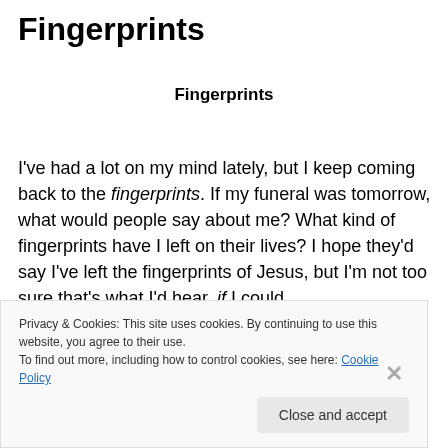Fingerprints
Fingerprints
I've had a lot on my mind lately, but I keep coming back to the fingerprints. If my funeral was tomorrow, what would people say about me? What kind of fingerprints have I left on their lives? I hope they'd say I've left the fingerprints of Jesus, but I'm not too sure that's what I'd hear, if I could
Privacy & Cookies: This site uses cookies. By continuing to use this website, you agree to their use.
To find out more, including how to control cookies, see here: Cookie Policy
Close and accept